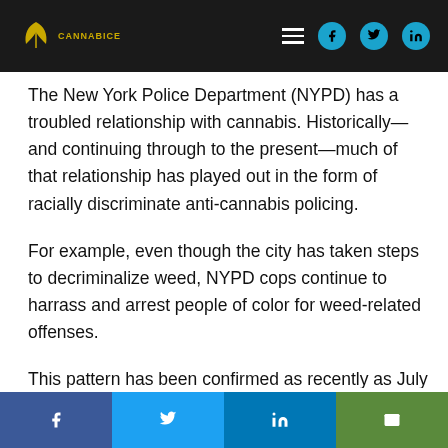Cannabice — navigation header with logo, hamburger menu, Facebook, Twitter, LinkedIn icons
The New York Police Department (NYPD) has a troubled relationship with cannabis. Historically—and continuing through to the present—much of that relationship has played out in the form of racially discriminate anti-cannabis policing.
For example, even though the city has taken steps to decriminalize weed, NYPD cops continue to harrass and arrest people of color for weed-related offenses.
This pattern has been confirmed as recently as July 2018. That month, NYPD watchdog group Police Reform Organization Project released a study on NYPD policing practices. One of the most alarming findings showed that
Share bar: Facebook, Twitter, LinkedIn, Email